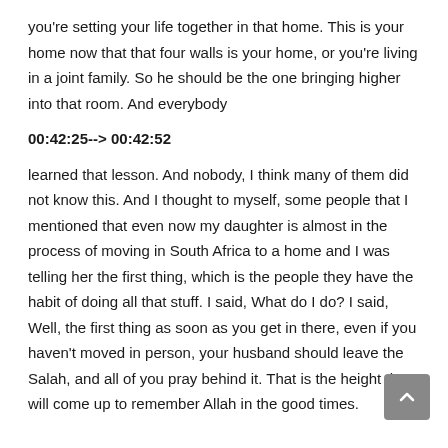you're setting your life together in that home. This is your home now that that four walls is your home, or you're living in a joint family. So he should be the one bringing higher into that room. And everybody
00:42:25--> 00:42:52
learned that lesson. And nobody, I think many of them did not know this. And I thought to myself, some people that I mentioned that even now my daughter is almost in the process of moving in South Africa to a home and I was telling her the first thing, which is the people they have the habit of doing all that stuff. I said, What do I do? I said, Well, the first thing as soon as you get in there, even if you haven't moved in person, your husband should leave the Salah, and all of you pray behind it. That is the height that will come up to remember Allah in the good times.